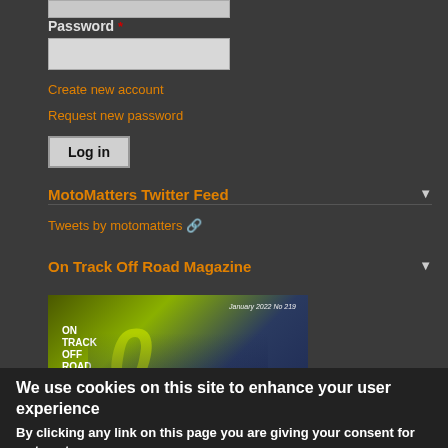Password *
Create new account
Request new password
Log in
MotoMatters Twitter Feed
Tweets by motomatters
On Track Off Road Magazine
[Figure (photo): On Track Off Road Magazine cover, January 2022 No 219, showing a motorcycle racer with number 51 and a large yellow-green stylized O on the cover]
We use cookies on this site to enhance your user experience
By clicking any link on this page you are giving your consent for us to set